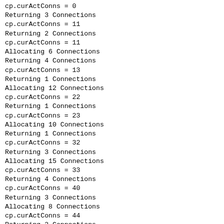cp.curActConns = 0
Returning 3 Connections
cp.curActConns = 11
Returning 2 Connections
cp.curActConns = 11
Allocating 6 Connections
Returning 4 Connections
cp.curActConns = 13
Returning 1 Connections
Allocating 12 Connections
cp.curActConns = 22
Returning 1 Connections
cp.curActConns = 23
Allocating 10 Connections
Returning 1 Connections
cp.curActConns = 32
Returning 3 Connections
Allocating 15 Connections
cp.curActConns = 33
Returning 4 Connections
cp.curActConns = 40
Returning 3 Connections
Allocating 8 Connections
cp.curActConns = 44
Returning 2 Connections
cp.curActConns = 43
Allocating 3 Connections
Returning 4 Connections
cp.curActConns = 42
Allocating 9 Connections